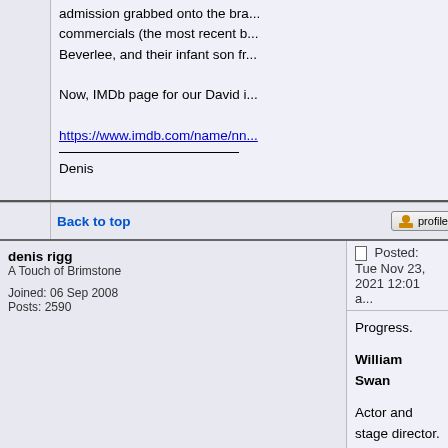admission grabbed onto the bra... commercials (the most recent b... Beverlee, and their infant son fr...
Now, IMDb page for our David i...
https://www.imdb.com/name/nn...
Denis
Back to top
denis rigg
A Touch of Brimstone
Joined: 06 Sep 2008
Posts: 2590
Posted: Tue Nov 23, 2021 12:01 a...
Progress.
William Swan
Actor and stage director.
Played steward in the Avengers...
[Figure (photo): Black photograph/image at bottom of post]